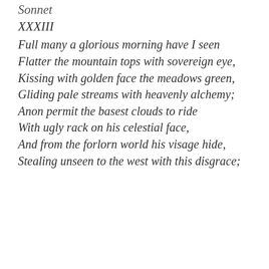Sonnet
XXXIII
Full many a glorious morning have I seen
Flatter the mountain tops with sovereign eye,
Kissing with golden face the meadows green,
Gliding pale streams with heavenly alchemy;
Anon permit the basest clouds to ride
With ugly rack on his celestial face,
And from the forlorn world his visage hide,
Stealing unseen to the west with this disgrace;